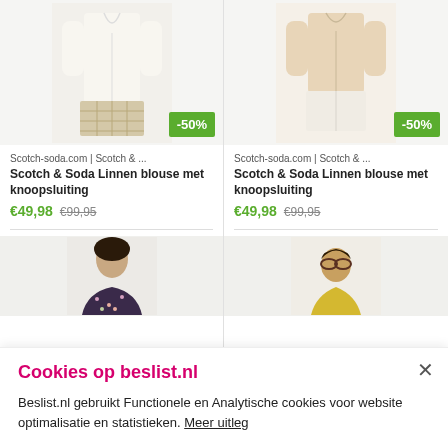[Figure (photo): Product photo of a white/cream linen blouse on a model, with a -50% discount badge]
Scotch-soda.com | Scotch & ...
Scotch & Soda Linnen blouse met knoopsluiting
€49,98  €99,95
[Figure (photo): Product photo of a beige/cream linen blouse on a model, with a -50% discount badge]
Scotch-soda.com | Scotch & ...
Scotch & Soda Linnen blouse met knoopsluiting
€49,98  €99,95
[Figure (photo): Product photo of a dark floral blouse on a model (partially visible)]
[Figure (photo): Product photo of a person wearing sunglasses and yellow shirt (partially visible)]
Cookies op beslist.nl
Beslist.nl gebruikt Functionele en Analytische cookies voor website optimalisatie en statistieken. Meer uitleg